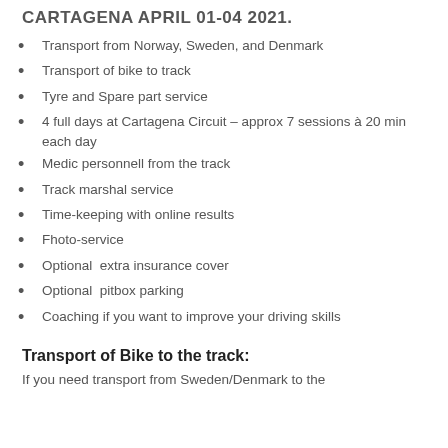CARTAGENA APRIL 01-04 2021.
Transport from Norway, Sweden, and Denmark
Transport of bike to track
Tyre and Spare part service
4 full days at Cartagena Circuit – approx 7 sessions à 20 min each day
Medic personnell from the track
Track marshal service
Time-keeping with online results
Fhoto-service
Optional  extra insurance cover
Optional  pitbox parking
Coaching if you want to improve your driving skills
Transport of Bike to the track:
If you need transport from Sweden/Denmark to the